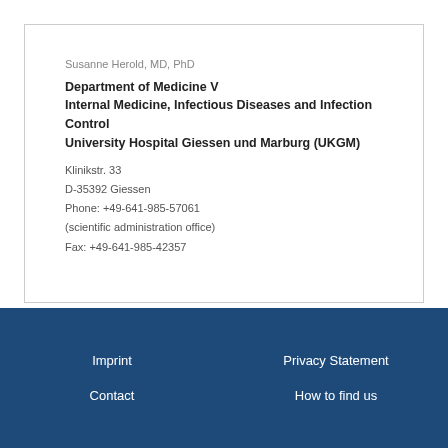Susanne Herold, MD, PhD
Department of Medicine V
Internal Medicine, Infectious Diseases and Infection Control
University Hospital Giessen und Marburg (UKGM)
Klinikstr. 33
D-35392 Giessen
Phone: +49-641-985-57061
(scientific administration office)
Fax: +49-641-985-42357
Imprint   Privacy Statement   Contact   How to find us